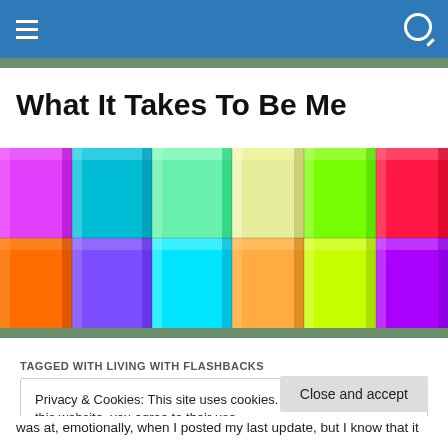Navigation bar with hamburger menu and search icon
What It Takes To Be Me
[Figure (photo): Colorful 3D rendered cubes arranged in a grid pattern, displaying a rainbow spectrum of colors including pink, magenta, cyan, blue, purple, green, yellow, orange, and red.]
TAGGED WITH LIVING WITH FLASHBACKS
Privacy & Cookies: This site uses cookies. By continuing to use this website, you agree to their use.
To find out more, including how to control cookies, see here: Cookie Policy
Close and accept
was at, emotionally, when I posted my last update, but I know that it